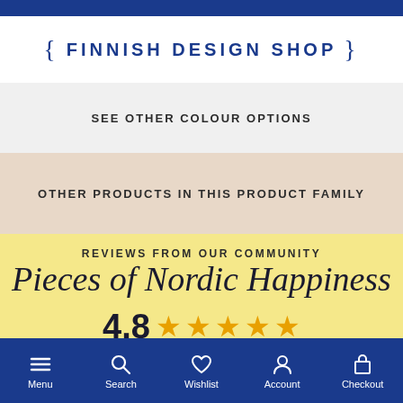FINNISH DESIGN SHOP
SEE OTHER COLOUR OPTIONS
OTHER PRODUCTS IN THIS PRODUCT FAMILY
REVIEWS FROM OUR COMMUNITY
Pieces of Nordic Happiness
4.8 ★★★★★
Menu  Search  Wishlist  Account  Checkout